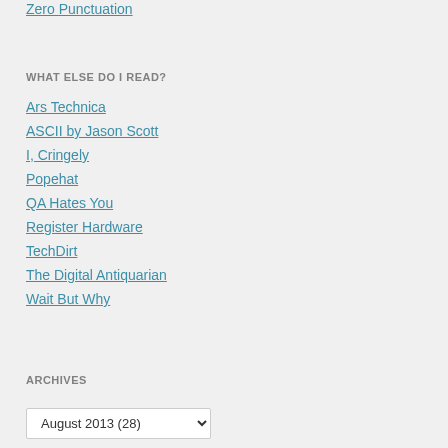Zero Punctuation
WHAT ELSE DO I READ?
Ars Technica
ASCII by Jason Scott
I, Cringely
Popehat
QA Hates You
Register Hardware
TechDirt
The Digital Antiquarian
Wait But Why
ARCHIVES
August 2013  (28)